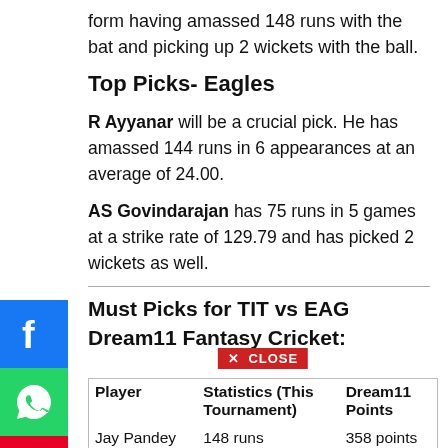form having amassed 148 runs with the bat and picking up 2 wickets with the ball.
Top Picks- Eagles
R Ayyanar will be a crucial pick. He has amassed 144 runs in 6 appearances at an average of 24.00.
AS Govindarajan has 75 runs in 5 games at a strike rate of 129.79 and has picked 2 wickets as well.
Must Picks for TIT vs EAG Dream11 Fantasy Cricket:
| Player | Statistics (This Tournament) | Dream11 Points |
| --- | --- | --- |
| Jay Pandey | 148 runs | 358 points |